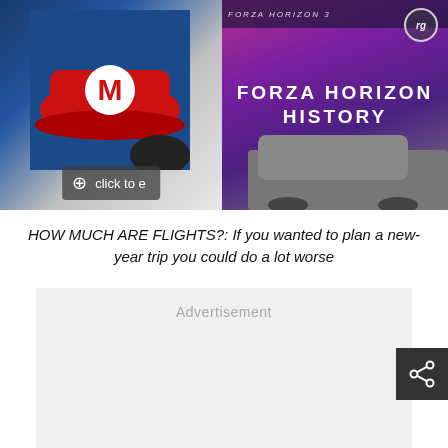[Figure (screenshot): Left image: Mario Odyssey game screenshot with a magnify/click-to-enlarge overlay. Right image: Forza Horizon promotional banner with purple/pink gradient and text FORZA HORIZON HISTORY with rating badge.]
HOW MUCH ARE FLIGHTS?: If you wanted to plan a new-year trip you could do a lot worse
Advertisement